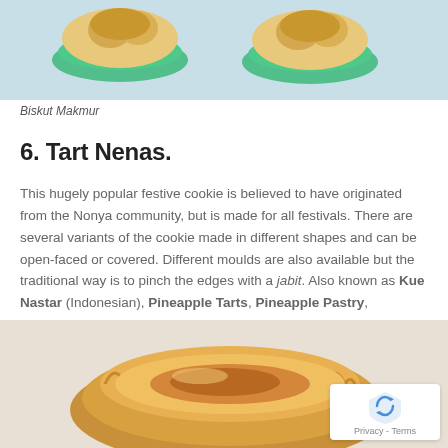[Figure (photo): Photo of Biskut Makmur cookies in green cupcake liners, close-up top view]
Biskut Makmur
6. Tart Nenas.
This hugely popular festive cookie is believed to have originated from the Nonya community, but is made for all festivals. There are several variants of the cookie made in different shapes and can be open-faced or covered. Different moulds are also available but the traditional way is to pinch the edges with a jabit. Also known as Kue Nastar (Indonesian), Pineapple Tarts, Pineapple Pastry, Pineapple Cakes.
[Figure (photo): Close-up photo of a golden-brown pineapple tart (Tart Nenas) with decorative ridged edges on a light background]